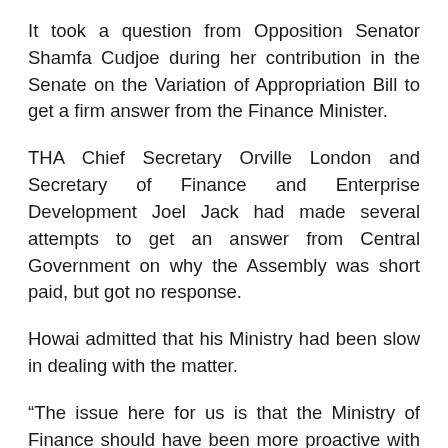It took a question from Opposition Senator Shamfa Cudjoe during her contribution in the Senate on the Variation of Appropriation Bill to get a firm answer from the Finance Minister.
THA Chief Secretary Orville London and Secretary of Finance and Enterprise Development Joel Jack had made several attempts to get an answer from Central Government on why the Assembly was short paid, but got no response.
Howai admitted that his Ministry had been slow in dealing with the matter.
“The issue here for us is that the Ministry of Finance should have been more proactive with the THA to have this matter sorted out,” he